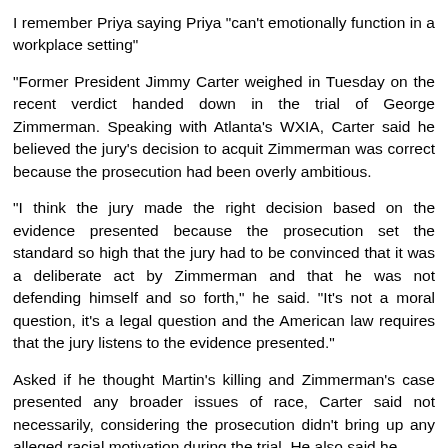I remember Priya saying Priya "can't emotionally function in a workplace setting"
"Former President Jimmy Carter weighed in Tuesday on the recent verdict handed down in the trial of George Zimmerman. Speaking with Atlanta's WXIA, Carter said he believed the jury's decision to acquit Zimmerman was correct because the prosecution had been overly ambitious.
"I think the jury made the right decision based on the evidence presented because the prosecution set the standard so high that the jury had to be convinced that it was a deliberate act by Zimmerman and that he was not defending himself and so forth," he said. "It's not a moral question, it's a legal question and the American law requires that the jury listens to the evidence presented."
Asked if he thought Martin's killing and Zimmerman's case presented any broader issues of race, Carter said not necessarily, considering the prosecution didn't bring up any alleged racial motivation during the trial. He also said he